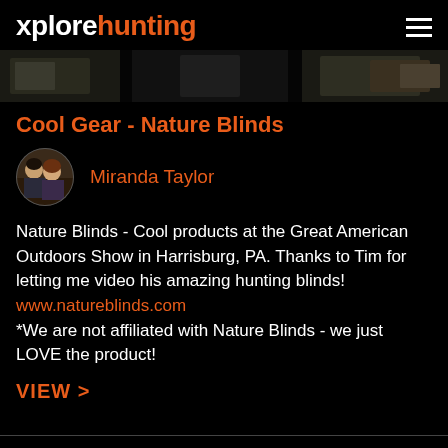xplorehunting
[Figure (photo): Banner strip showing dark outdoor/hunting scene thumbnails]
Cool Gear - Nature Blinds
[Figure (photo): Circular avatar photo of two people (man and woman)]
Miranda Taylor
Nature Blinds - Cool products at the Great American Outdoors Show in Harrisburg, PA. Thanks to Tim for letting me video his amazing hunting blinds!
www.natureblinds.com
*We are not affiliated with Nature Blinds - we just LOVE the product!
VIEW >